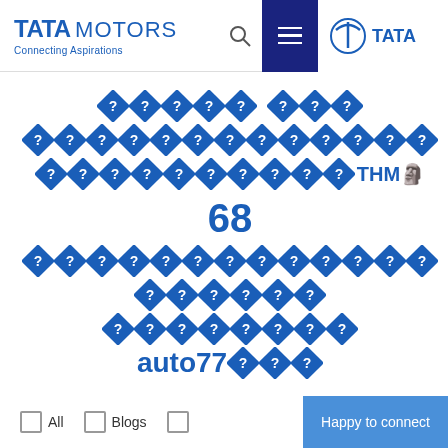[Figure (logo): Tata Motors header logo with 'Connecting Aspirations' tagline, search icon, hamburger menu, and Tata globe logo]
◆◆◆◆◆ ◆◆◆ (encoded/corrupted text with diamond question marks) 68 auto77◆◆◆
All  Blogs  Happy to connect